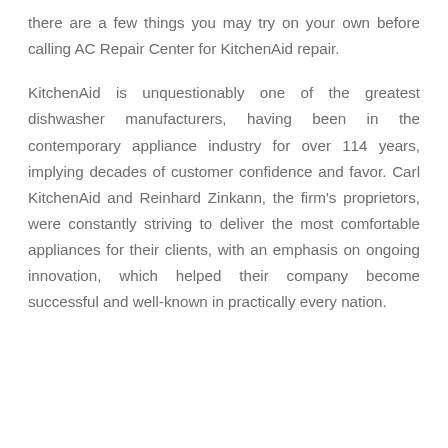there are a few things you may try on your own before calling AC Repair Center for KitchenAid repair.
KitchenAid is unquestionably one of the greatest dishwasher manufacturers, having been in the contemporary appliance industry for over 114 years, implying decades of customer confidence and favor. Carl KitchenAid and Reinhard Zinkann, the firm's proprietors, were constantly striving to deliver the most comfortable appliances for their clients, with an emphasis on ongoing innovation, which helped their company become successful and well-known in practically every nation.